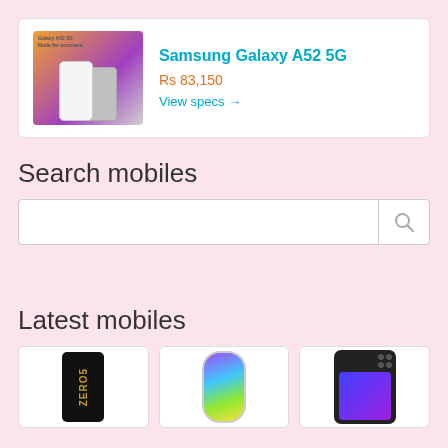[Figure (screenshot): Ad card for Samsung Galaxy A52 5G showing product image with two phones, title in cyan, price in orange, and a View specs link]
Samsung Galaxy A52 5G
Rs 83,150
View specs →
Search mobiles
[Figure (screenshot): Search bar with empty text input and a search (magnifying glass) icon on the right]
Latest mobiles
[Figure (screenshot): Three phone cards in a row: first shows a black phone with ZERO5 text, second shows a phone with colorful gradient screen, third shows a dark phone with camera grid]